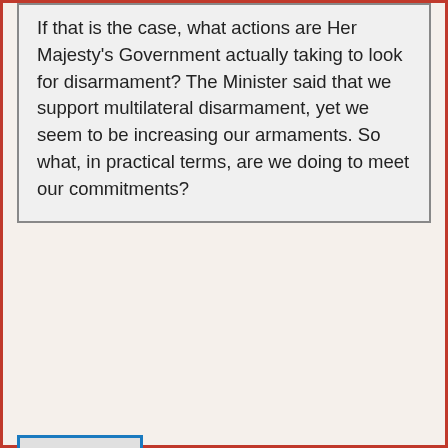If that is the case, what actions are Her Majesty's Government actually taking to look for disarmament? The Minister said that we support multilateral disarmament, yet we seem to be increasing our armaments. So what, in practical terms, are we doing to meet our commitments?
[Figure (photo): Silhouette profile photo placeholder of Lord Ahmad of Wimbledon with blue border]
Lord Ahmad of Wimbledon (Con)
- Hansard - ⋅ - 🔔 - Excerpts
My Lords, on the specific point about our own capacity, ultimately of course we retain our defensive capacity. Referring back to the P5 statement, it was encouraging that all countries have underlined the importance of the defensive nature of being nuclear states. On specific aspects of what we are doing, we have, for example, recently had discussions with other